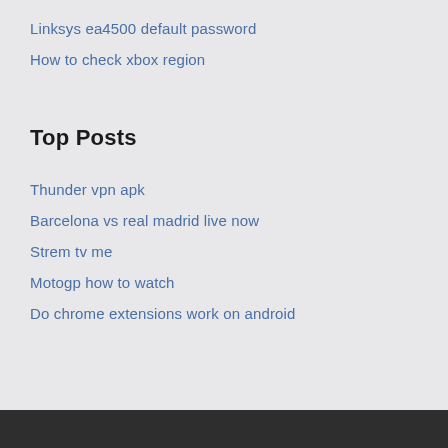Linksys ea4500 default password
How to check xbox region
Top Posts
Thunder vpn apk
Barcelona vs real madrid live now
Strem tv me
Motogp how to watch
Do chrome extensions work on android